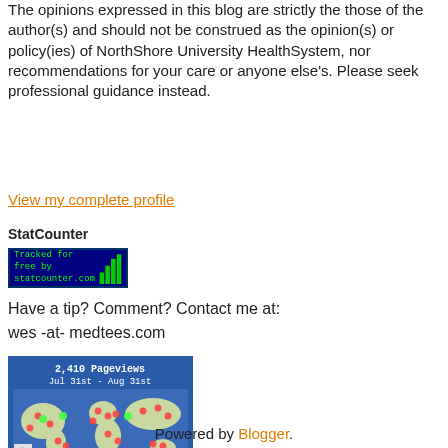The opinions expressed in this blog are strictly the those of the author(s) and should not be construed as the opinion(s) or policy(ies) of NorthShore University HealthSystem, nor recommendations for your care or anyone else's. Please seek professional guidance instead.
View my complete profile
StatCounter
[Figure (other): StatCounter badge: 'Tracked for free by statcounter.com' with a green bar chart icon on dark blue background]
Have a tip? Comment? Contact me at:
wes -at- medtees.com
[Figure (map): World map showing 2,410 Pageviews from Jul 31st - Aug 31st with red and green dots indicating visitor locations, and zoom controls]
Powered by Blogger.